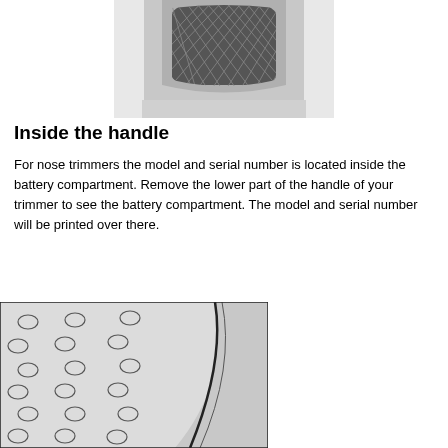[Figure (illustration): Top view of a nose trimmer head showing a rounded rectangular housing with a diamond-pattern textured dark grey cutting surface, with white/light grey border edges on sides.]
Inside the handle
For nose trimmers the model and serial number is located inside the battery compartment. Remove the lower part of the handle of your trimmer to see the battery compartment. The model and serial number will be printed over there.
[Figure (illustration): Close-up illustration of the lower handle section of a nose trimmer showing a light textured surface with scattered diamond-shaped grip pattern cutouts on the left, and a smooth curved light grey panel on the right with a diagonal dark line/seam.]